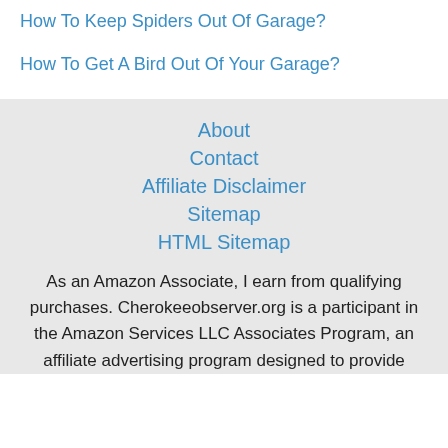How To Keep Spiders Out Of Garage?
How To Get A Bird Out Of Your Garage?
About
Contact
Affiliate Disclaimer
Sitemap
HTML Sitemap
As an Amazon Associate, I earn from qualifying purchases. Cherokeeobserver.org is a participant in the Amazon Services LLC Associates Program, an affiliate advertising program designed to provide